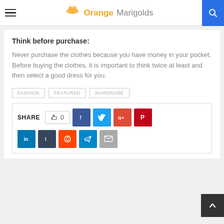Orange Marigolds
Think before purchase:
Never purchase the clothes because you have money in your pocket. Before buying the clothes, it is important to think twice at least and then select a good dress for you.
FASHION
FEATURED
WARDROBE
SHARE 0 [Facebook] [Twitter] [Google+] [Pinterest] [LinkedIn] [Tumblr] [Reddit] [Telegram] [Email]